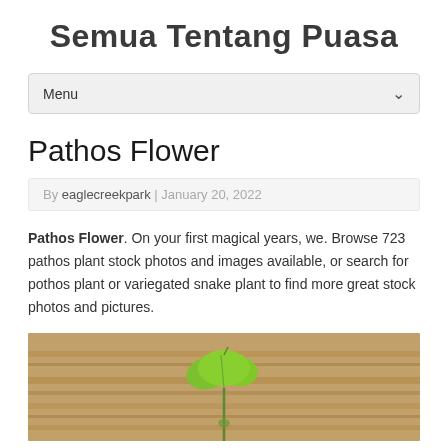Semua Tentang Puasa
Menu
Pathos Flower
By eaglecreekpark | January 20, 2022
Pathos Flower. On your first magical years, we. Browse 723 pathos plant stock photos and images available, or search for pothos plant or variegated snake plant to find more great stock photos and pictures.
[Figure (photo): A small green pothos plant seedling with a heart-shaped leaf resting on a wooden surface with horizontal wood grain lines visible.]